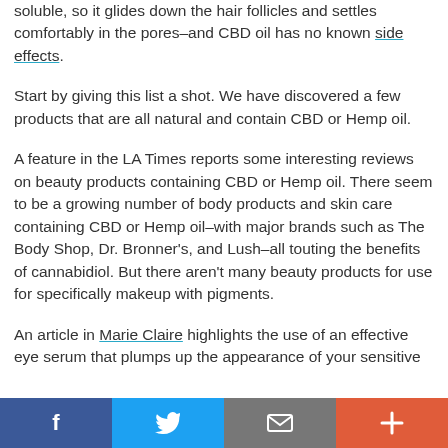soluble, so it glides down the hair follicles and settles comfortably in the pores–and CBD oil has no known side effects.
Start by giving this list a shot. We have discovered a few products that are all natural and contain CBD or Hemp oil.
A feature in the LA Times reports some interesting reviews on beauty products containing CBD or Hemp oil. There seem to be a growing number of body products and skin care containing CBD or Hemp oil–with major brands such as The Body Shop, Dr. Bronner's, and Lush–all touting the benefits of cannabidiol. But there aren't many beauty products for use for specifically makeup with pigments.
An article in Marie Claire highlights the use of an effective eye serum that plumps up the appearance of your sensitive